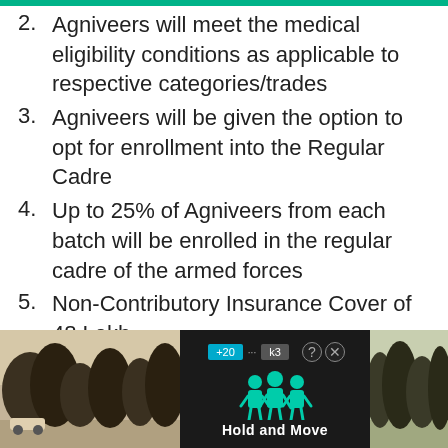2. Agniveers will meet the medical eligibility conditions as applicable to respective categories/trades
3. Agniveers will be given the option to opt for enrollment into the Regular Cadre
4. Up to 25% of Agniveers from each batch will be enrolled in the regular cadre of the armed forces
5. Non-Contributory Insurance Cover of 48 Lakh
6. Agniveer Skill Certificate
Also Read
[Figure (screenshot): Advertisement banner showing 'Hold and Move' app/game with person icons and dark background, with tree silhouettes on the sides]